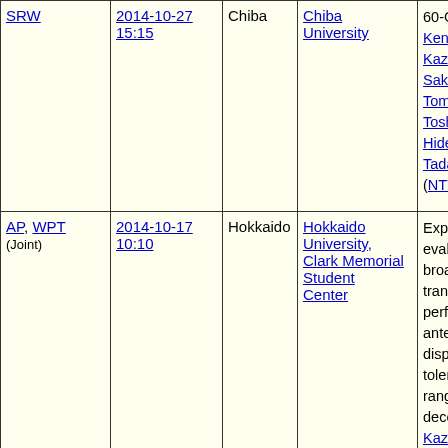| Session | Date/Time | Location | Venue | Title/Authors |
| --- | --- | --- | --- | --- |
| SRW | 2014-10-27 15:15 | Chiba | Chiba University | 60-GHz b... Ken Hiraga, Kazumitsu Sakamoto, Tomohiro, Toshimitsu, Hideki Tos, Tadao Na (NTT) |
| AP, WPT (Joint) | 2014-10-17 10:10 | Hokkaido | Hokkaido University, Clark Memorial Student Center | Experimental evaluation broadband transmission performance antenna displacement tolerance range MIM decoding Kazumitsu Sakamoto, Hiraga, M, Tomohiro, Toshimitsu, Hideki Tos |